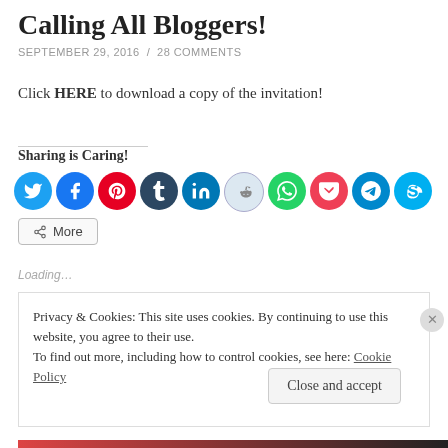Calling All Bloggers!
SEPTEMBER 29, 2016 / 28 COMMENTS
Click HERE to download a copy of the invitation!
Sharing is Caring!
[Figure (other): Social sharing icon buttons: Twitter, Facebook, Pinterest, Tumblr, LinkedIn, Reddit, WhatsApp, Pocket, Telegram, Skype]
More
Loading…
Privacy & Cookies: This site uses cookies. By continuing to use this website, you agree to their use.
To find out more, including how to control cookies, see here: Cookie Policy
Close and accept